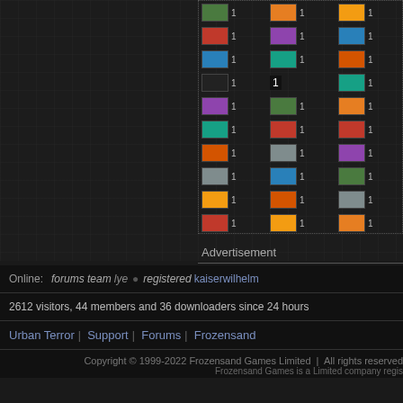[Figure (other): Grid of country flags each with count of 1, arranged in 3 columns inside a dotted border region. Dark background with grid pattern.]
Advertisement
Online:  forums team  lye  ●  registered  kaiserwilhelm
2612 visitors, 44 members and 36 downloaders since 24 hours
Urban Terror | Support | Forums | Frozensand
Copyright © 1999-2022 Frozensand Games Limited  |  All rights reserved
Frozensand Games is a Limited company regis